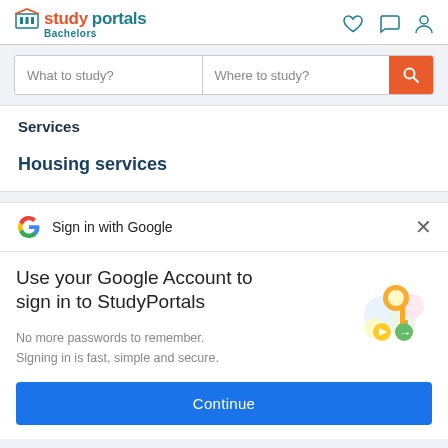studyportals Bachelors
What to study?  Where to study?
Services
Housing services
Sign in with Google
Use your Google Account to sign in to StudyPortals
No more passwords to remember. Signing in is fast, simple and secure.
[Figure (illustration): Google account key illustration with colorful circles and a gold key]
Continue